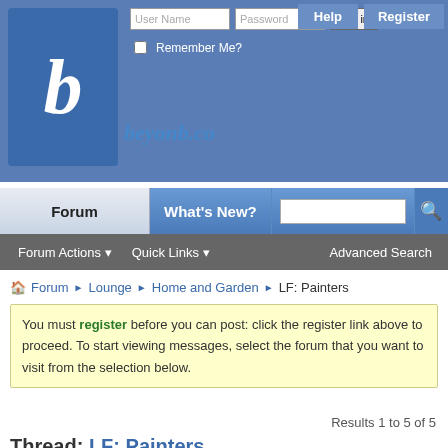[Figure (screenshot): Website header with logo, login fields (User Name, Password), Log in button, Help and Register buttons, Remember Me checkbox]
[Figure (screenshot): Navigation bar with Forum, What's New?, search box, and search button tabs; sub-nav with Forum Actions, Quick Links, Advanced Search]
Forum › Lounge › Home and Garden › LF: Painters
You must register before you can post: click the register link above to proceed. To start viewing messages, select the forum that you want to visit from the selection below.
Results 1 to 5 of 5
Thread: LF: Painters
Thread Tools   Search Thread